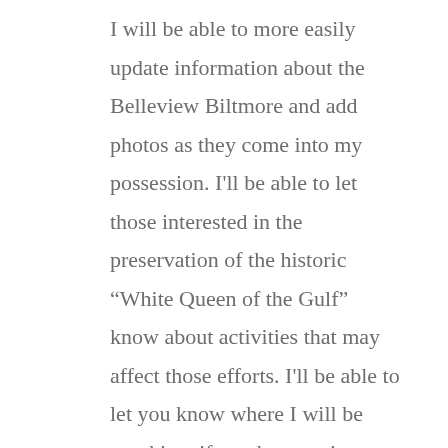I will be able to more easily update information about the Belleview Biltmore and add photos as they come into my possession. I'll be able to let those interested in the preservation of the historic “White Queen of the Gulf” know about activities that may affect those efforts. I'll be able to let you know where I will be speaking, if you have an interest in attending. I'll be able to tell you about my books and let you know if they become available in a new format. I'll be able to share links to other sites you might find of interest. I'll even be able to provide links to purchase my books and let you know what to expect in the near future. The site also allows me to connect all my social networking sites together. It’s amazing what